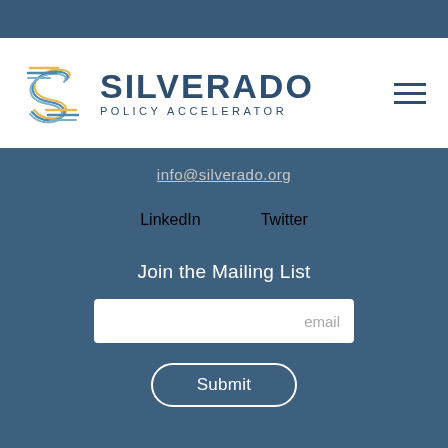[Figure (logo): Silverado Policy Accelerator logo with stylized S icon and text]
info@silverado.org
LinkedIn    Twitter
Join the Mailing List
email
Submit